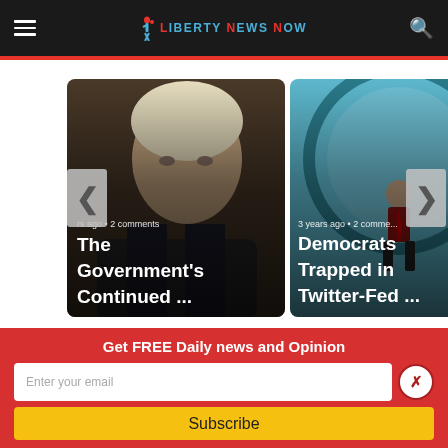Liberty News Now
[Figure (photo): News article card 1: man with gray/blonde hair in dark suit, dark background. Overlay text: '...rs ago • 2 comments'. Title: 'The Government's Continued ...']
[Figure (photo): News article card 2: man standing in front of large clock/lens on teal background. Overlay text: '3 years ago • 2 comme...'. Title: 'Democrats Trapped in Twitter-Fed ...']
Get FREE Daily news and Opinion
Enter your email
Subscribe